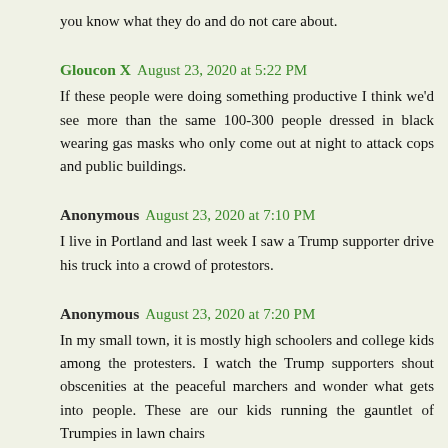you know what they do and do not care about.
Gloucon X August 23, 2020 at 5:22 PM
If these people were doing something productive I think we'd see more than the same 100-300 people dressed in black wearing gas masks who only come out at night to attack cops and public buildings.
Anonymous August 23, 2020 at 7:10 PM
I live in Portland and last week I saw a Trump supporter drive his truck into a crowd of protestors.
Anonymous August 23, 2020 at 7:20 PM
In my small town, it is mostly high schoolers and college kids among the protesters. I watch the Trump supporters shout obscenities at the peaceful marchers and wonder what gets into people. These are our kids running the gauntlet of Trumpies in lawn chairs